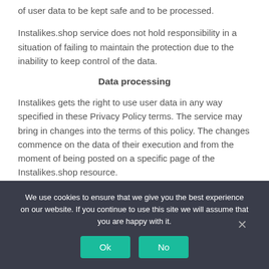of user data to be kept safe and to be processed.
Instalikes.shop service does not hold responsibility in a situation of failing to maintain the protection due to the inability to keep control of the data.
Data processing
Instalikes gets the right to use user data in any way specified in these Privacy Policy terms. The service may bring in changes into the terms of this policy. The changes commence on the data of their execution and from the moment of being posted on a specific page of the Instalikes.shop resource.
We use cookies to ensure that we give you the best experience on our website. If you continue to use this site we will assume that you are happy with it.